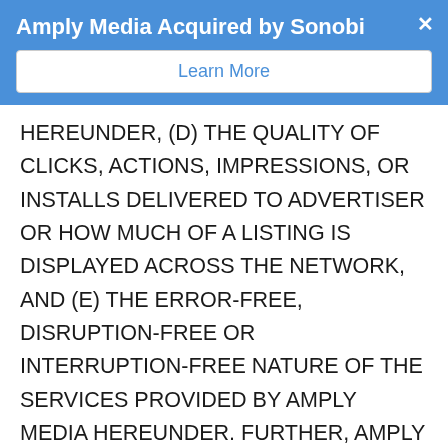Amply Media Acquired by Sonobi
Learn More
HEREUNDER, (D) THE QUALITY OF CLICKS, ACTIONS, IMPRESSIONS, OR INSTALLS DELIVERED TO ADVERTISER OR HOW MUCH OF A LISTING IS DISPLAYED ACROSS THE NETWORK, AND (E) THE ERROR-FREE, DISRUPTION-FREE OR INTERRUPTION-FREE NATURE OF THE SERVICES PROVIDED BY AMPLY MEDIA HEREUNDER. FURTHER, AMPLY MEDIA DOES NOT GUARANTEE ANY RETURN ON INVESTMENT.